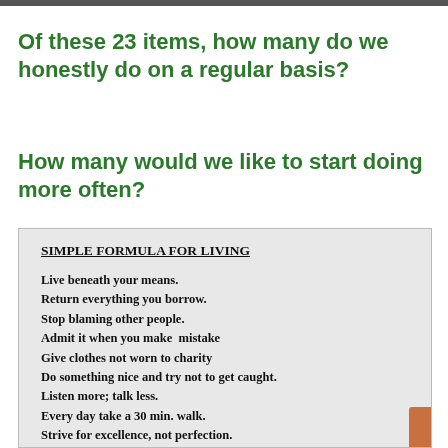Of these 23 items, how many do we honestly do on a regular basis?
How many would we like to start doing more often?
[Figure (photo): A photograph of a printed page showing 'SIMPLE FORMULA FOR LIVING' with a list of life advice items including: Live beneath your means. Return everything you borrow. Stop blaming other people. Admit it when you make mistake. Give clothes not worn to charity. Do something nice and try not to get caught. Listen more; talk less. Every day take a 30 min. walk. Strive for excellence, not perfection.]